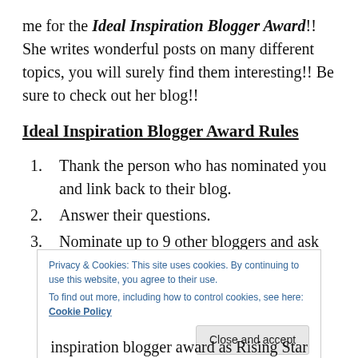me for the Ideal Inspiration Blogger Award!! She writes wonderful posts on many different topics, you will surely find them interesting!! Be sure to check out her blog!!
Ideal Inspiration Blogger Award Rules
Thank the person who has nominated you and link back to their blog.
Answer their questions.
Nominate up to 9 other bloggers and ask them 5 new questions.
Privacy & Cookies: This site uses cookies. By continuing to use this website, you agree to their use. To find out more, including how to control cookies, see here: Cookie Policy
Close and accept
inspiration blogger award as Rising Star